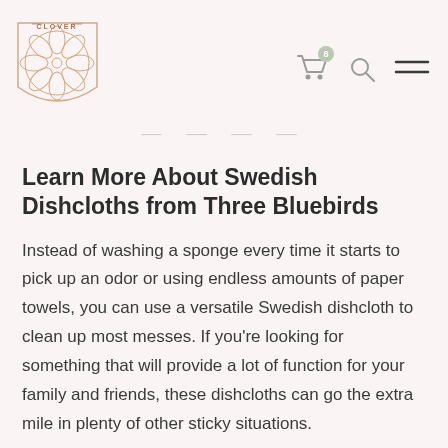CLOVER [logo with decorative floral circular emblem]
Learn More About Swedish Dishcloths from Three Bluebirds
Instead of washing a sponge every time it starts to pick up an odor or using endless amounts of paper towels, you can use a versatile Swedish dishcloth to clean up most messes. If you're looking for something that will provide a lot of function for your family and friends, these dishcloths can go the extra mile in plenty of other sticky situations.